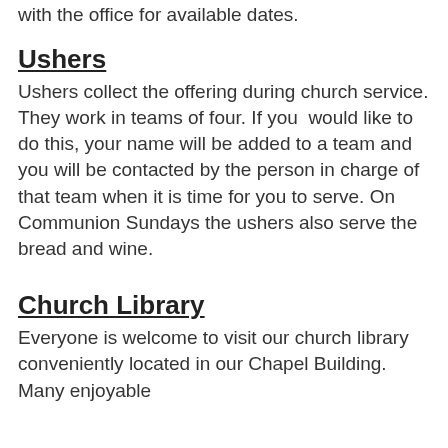with the office for available dates.
Ushers
Ushers collect the offering during church service. They work in teams of four. If you  would like to do this, your name will be added to a team and you will be contacted by the person in charge of that team when it is time for you to serve. On Communion Sundays the ushers also serve the bread and wine.
Church Library
Everyone is welcome to visit our church library conveniently located in our Chapel Building. Many enjoyable